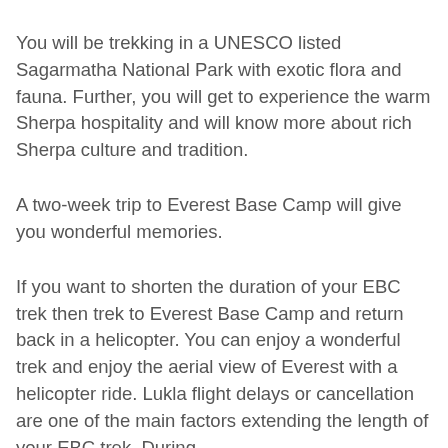You will be trekking in a UNESCO listed Sagarmatha National Park with exotic flora and fauna. Further, you will get to experience the warm Sherpa hospitality and will know more about rich Sherpa culture and tradition.
A two-week trip to Everest Base Camp will give you wonderful memories.
If you want to shorten the duration of your EBC trek then trek to Everest Base Camp and return back in a helicopter. You can enjoy a wonderful trek and enjoy the aerial view of Everest with a helicopter ride. Lukla flight delays or cancellation are one of the main factors extending the length of your EBC trek. During